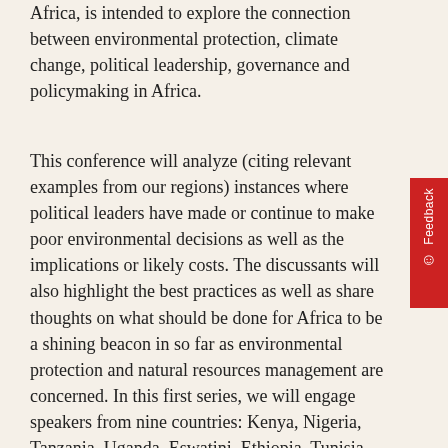Africa, is intended to explore the connection between environmental protection, climate change, political leadership, governance and policymaking in Africa.
This conference will analyze (citing relevant examples from our regions) instances where political leaders have made or continue to make poor environmental decisions as well as the implications or likely costs. The discussants will also highlight the best practices as well as share thoughts on what should be done for Africa to be a shining beacon in so far as environmental protection and natural resources management are concerned. In this first series, we will engage speakers from nine countries: Kenya, Nigeria, Tanzania, Uganda, Eswatini, Ethiopia, Tunisia, Namibia and Zambia to bring their peculiar experiences to fore and help chart sustainable solutions for the continent.